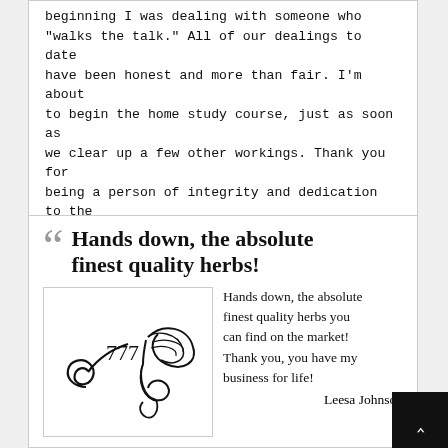beginning I was dealing with someone who "walks the talk." All of our dealings to date have been honest and more than fair. I'm about to begin the home study course, just as soon as we clear up a few other workings. Thank you for being a person of integrity and dedication to the Work! We need more like you in the world.
J Cas – customer and  Nascent Magician student
Hands down, the absolute finest quality herbs!
[Figure (logo): Decorative logo with the number 777 and an ornate swirling leaf/plant design in black]
Hands down, the absolute finest quality herbs you can find on the market! Thank you, you have my business for life!
Leesa Johnson